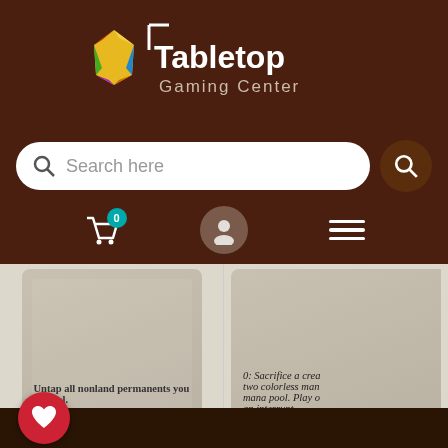[Figure (logo): Tabletop Gaming Center logo with colorful geometric gem shape and white text on dark brown background]
[Figure (screenshot): Search bar with magnifying glass icon and 'Search here' placeholder text, brown search button on right]
[Figure (screenshot): Navigation icons: shopping cart with badge '0', user profile icon, hamburger menu on dark brown background]
[Figure (photo): Magic: The Gathering card - Dramatic Reversal [Kaladesh] showing card text about untapping nonland permanents]
Dramatic Reversal [Kaladesh]
$0.60 USD
Only 3 units left
[Figure (photo): Magic: The Gathering card - Ashnod's Altar [Chronicles] partially visible, showing sacrifice ability text]
Ashnod's Altar [Chr...
$10.80 USD
In stock, 8 units
[Figure (screenshot): Red heart/favorites button with count 0 at bottom left corner]